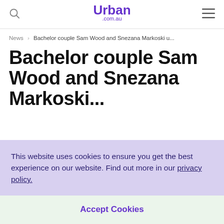Urban .com.au
News > Bachelor couple Sam Wood and Snezana Markoski u...
Bachelor couple Sam Wood and Snezana Markoski...
This website uses cookies to ensure you get the best experience on our website. Find out more in our privacy policy.
Accept Cookies